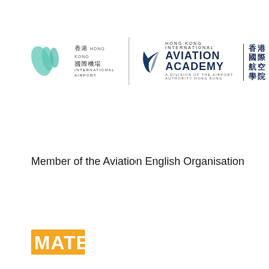[Figure (logo): Hong Kong International Airport logo and Hong Kong International Aviation Academy logo side by side, separated by a vertical line]
Member of the Aviation English Organisation
[Figure (logo): MATE logo in orange and grey at bottom left]